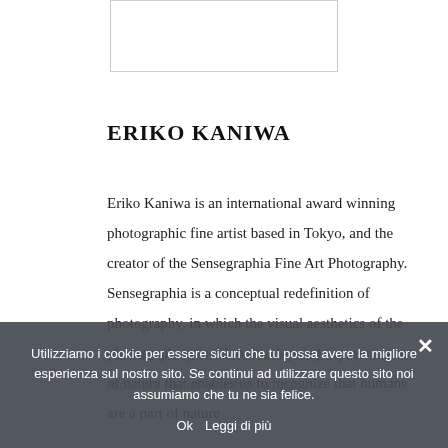[Figure (photo): Partial photo placeholder at top of page, white box with gray border]
ERIKO KANIWA
Eriko Kaniwa is an international award winning photographic fine artist based in Tokyo, and the creator of the Sensegraphia Fine Art Photography. Sensegraphia is a conceptual redefinition of photography, in which the visual aesthetics of the photograph are used to develop and express a sense of nature that enables us to recognize that humans are a part of nature
Kaniwa has spent years researching the symbols of Japanese nature worship, which
Utilizziamo i cookie per essere sicuri che tu possa avere la migliore esperienza sul nostro sito. Se continui ad utilizzare questo sito noi assumiamo che tu ne sia felice.
Ok   Leggi di più